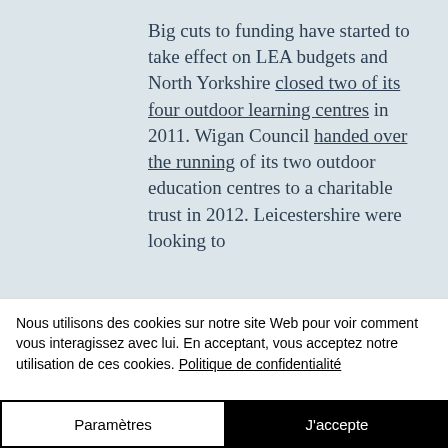Big cuts to funding have started to take effect on LEA budgets and North Yorkshire closed two of its four outdoor learning centres in 2011. Wigan Council handed over the running of its two outdoor education centres to a charitable trust in 2012. Leicestershire were looking to
Nous utilisons des cookies sur notre site Web pour voir comment vous interagissez avec lui. En acceptant, vous acceptez notre utilisation de ces cookies. Politique de confidentialité
Paramètres
J&#39;accepte